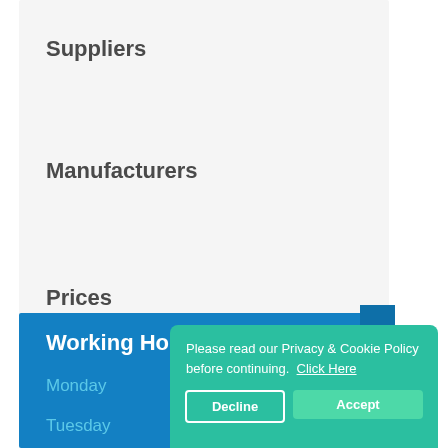Suppliers
Manufacturers
Prices
Quote
Contact us
Working Ho[urs]
Monday
Tuesday  08:00 - 18:00
Please read our Privacy & Cookie Policy before continuing.  Click Here
Decline
Accept